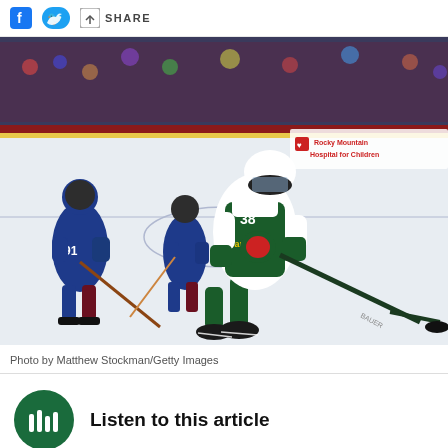SHARE
[Figure (photo): NHL hockey game action photo: Minnesota Wild player in white and green jersey skating with the puck, being pursued by Colorado Avalanche players in blue jerseys. Player number 91 visible on left. Rocky Mountain Hospital for Children advertisement visible on boards in background. Player using Bauer stick, shooting puck on ice.]
Photo by Matthew Stockman/Getty Images
Listen to this article